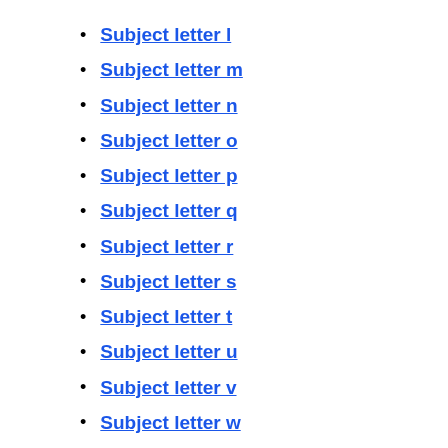Subject letter l
Subject letter m
Subject letter n
Subject letter o
Subject letter p
Subject letter q
Subject letter r
Subject letter s
Subject letter t
Subject letter u
Subject letter v
Subject letter w